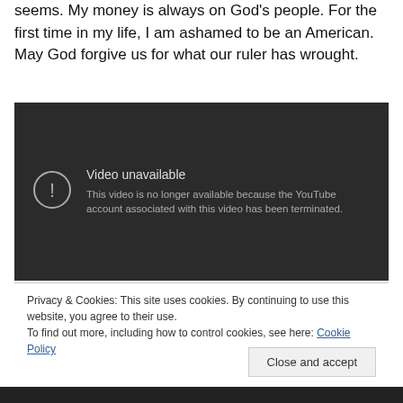seems. My money is always on God’s people. For the first time in my life, I am ashamed to be an American. May God forgive us for what our ruler has wrought.
[Figure (screenshot): YouTube video unavailable screen with dark background. Shows a circle-exclamation icon and text: 'Video unavailable' and 'This video is no longer available because the YouTube account associated with this video has been terminated.']
Privacy & Cookies: This site uses cookies. By continuing to use this website, you agree to their use.
To find out more, including how to control cookies, see here: Cookie Policy
Close and accept